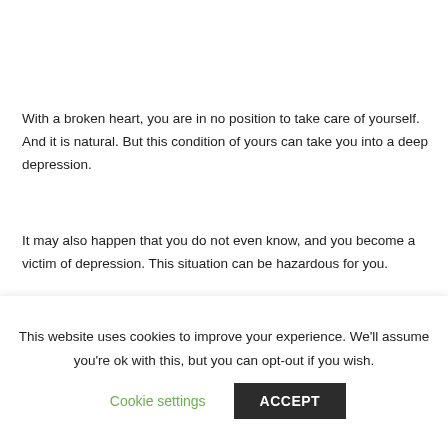With a broken heart, you are in no position to take care of yourself. And it is natural. But this condition of yours can take you into a deep depression.
It may also happen that you do not even know, and you become a victim of depression. This situation can be hazardous for you.
[Figure (photo): Black and white photograph showing a person in distress, visible from head down, partial view at bottom of page area]
This website uses cookies to improve your experience. We'll assume you're ok with this, but you can opt-out if you wish.